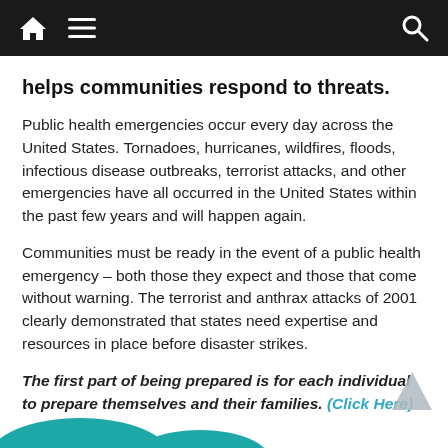Navigation bar with home, menu, and search icons
helps communities respond to threats.
Public health emergencies occur every day across the United States. Tornadoes, hurricanes, wildfires, floods, infectious disease outbreaks, terrorist attacks, and other emergencies have all occurred in the United States within the past few years and will happen again.
Communities must be ready in the event of a public health emergency – both those they expect and those that come without warning. The terrorist and anthrax attacks of 2001 clearly demonstrated that states need expertise and resources in place before disaster strikes.
The first part of being prepared is for each individual to prepare themselves and their families. (Click Here)